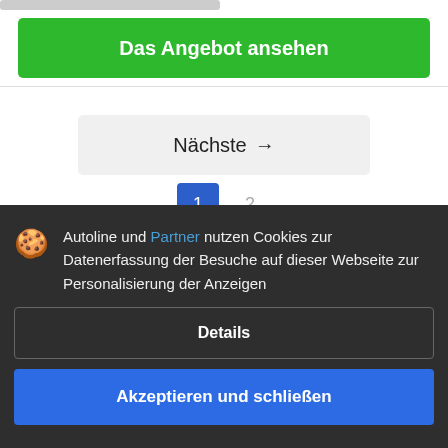[Figure (screenshot): Green button labeled 'Das Angebot ansehen']
[Figure (screenshot): Gray navigation button labeled 'Nächste →']
[Figure (screenshot): Pagination showing page 1 active and page 2 inactive]
Autoline und Partner nutzen Cookies zur Datenerfassung der Besuche auf dieser Webseite zur Personalisierung der Anzeigen
Details
Akzeptieren und schließen